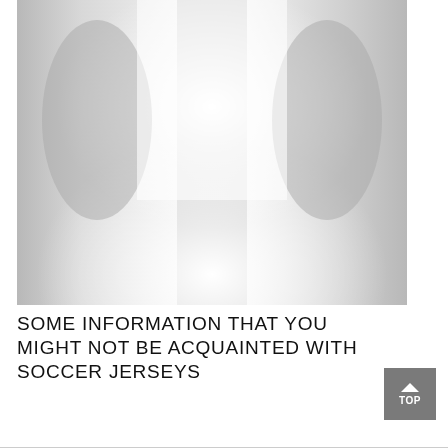[Figure (photo): A blurred, high-key photograph showing two silhouetted figures on either side with a bright white center, likely a corridor or hallway scene.]
SOME INFORMATION THAT YOU MIGHT NOT BE ACQUAINTED WITH SOCCER JERSEYS